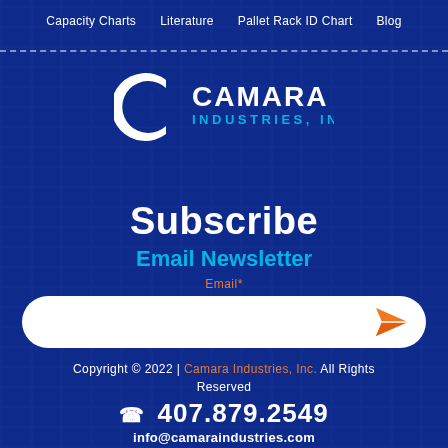Capacity Charts  Literature  Pallet Rack ID Chart  Blog
[Figure (logo): Camara Industries, Inc. logo — stylized C with nested lines followed by CAMARA INDUSTRIES, INC in white text]
Subscribe
Email Newsletter
Email*
[Figure (infographic): White rounded rectangle input field with orange paper plane send icon on the right]
Copyright © 2022 | Camara Industries, Inc. All Rights Reserved
407.879.2549
info@camaraindustries.com